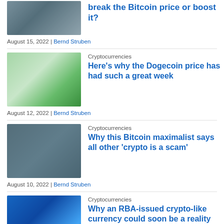break the Bitcoin price or boost it?
August 15, 2022 | Bernd Struben
Cryptocurrencies
Here’s why the Dogecoin price has had such a great week
August 12, 2022 | Bernd Struben
Cryptocurrencies
Why this Bitcoin maximalist says all other ‘crypto is a scam’
August 10, 2022 | Bernd Struben
Cryptocurrencies
Why an RBA-issued crypto-like currency could soon be a reality
August 9, 2022 | Brooke Cooper